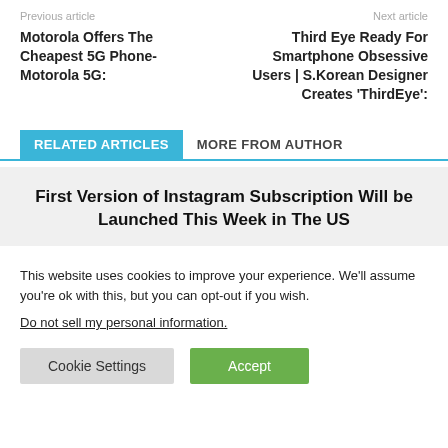Previous article | Next article
Motorola Offers The Cheapest 5G Phone- Motorola 5G:
Third Eye Ready For Smartphone Obsessive Users | S.Korean Designer Creates 'ThirdEye':
RELATED ARTICLES   MORE FROM AUTHOR
First Version of Instagram Subscription Will be Launched This Week in The US
This website uses cookies to improve your experience. We'll assume you're ok with this, but you can opt-out if you wish.
Do not sell my personal information.
Cookie Settings | Accept